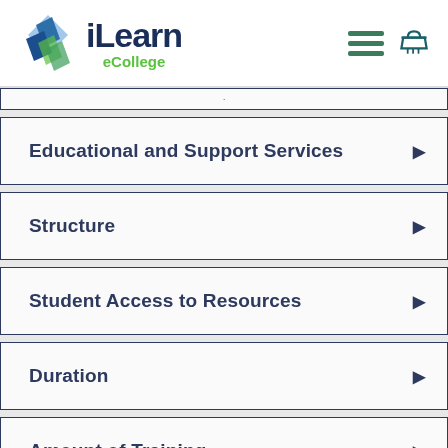iLearn eCollege
Educational and Support Services
Structure
Student Access to Resources
Duration
Amount of Training
Information Regarding Assessments